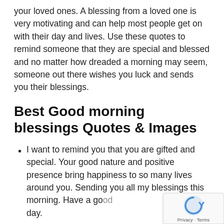your loved ones. A blessing from a loved one is very motivating and can help most people get on with their day and lives. Use these quotes to remind someone that they are special and blessed and no matter how dreaded a morning may seem, someone out there wishes you luck and sends you their blessings.
Best Good morning blessings Quotes & Images
I want to remind you that you are gifted and special. Your good nature and positive presence bring happiness to so many lives around you. Sending you all my blessings this morning. Have a good day.
May you never lack confidence and always believe in yourself. All my…